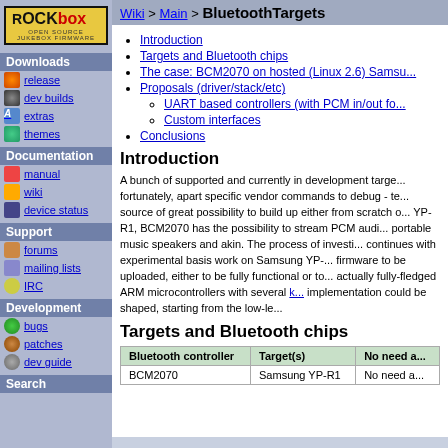Wiki > Main > BluetoothTargets
Introduction
Targets and Bluetooth chips
The case: BCM2070 on hosted (Linux 2.6) Samsu...
Proposals (driver/stack/etc)
UART based controllers (with PCM in/out fo...
Custom interfaces
Conclusions
Introduction
A bunch of supported and currently in development targe... fortunately, apart specific vendor commands to debug - te... source of great possibility to build up either from scratch... YP-R1, BCM2070 has the possibility to stream PCM audi... portable music speakers and akin. The process of investi... continues with experimental basis work on Samsung YP-... firmware to be uploaded, either to be fully functional or to... actually fully-fledged ARM microcontrollers with several k... implementation could be shaped, starting from the low-le...
Targets and Bluetooth chips
| Bluetooth controller | Target(s) | No need a... |
| --- | --- | --- |
| BCM2070 | Samsung YP-R1 | No need a... |